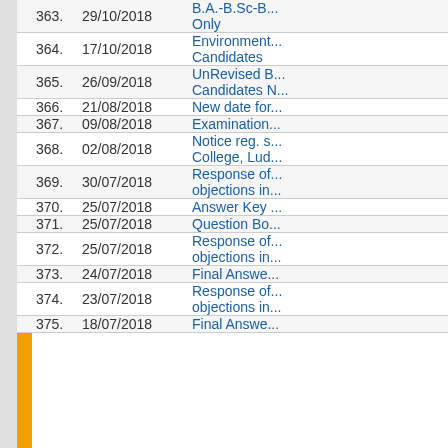| Sr. No. | Date | Title/Link |
| --- | --- | --- |
| 363. | 29/10/2018 | B.A.-B.Sc-B.... Only |
| 364. | 17/10/2018 | Environment... Candidates |
| 365. | 26/09/2018 | UnRevised B... Candidates N... |
| 366. | 21/08/2018 | New date for... |
| 367. | 09/08/2018 | Examination... |
| 368. | 02/08/2018 | Notice reg. s... College, Lud... |
| 369. | 30/07/2018 | Response of... objections in... |
| 370. | 25/07/2018 | Answer Key ... |
| 371. | 25/07/2018 | Question Bo... |
| 372. | 25/07/2018 | Response of... objections in... |
| 373. | 24/07/2018 | Final Answer... |
| 374. | 23/07/2018 | Response of... objections in... |
| 375. | 18/07/2018 | Final Answe... |